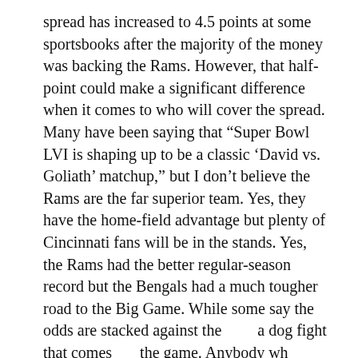spread has increased to 4.5 points at some sportsbooks after the majority of the money was backing the Rams. However, that half-point could make a significant difference when it comes to who will cover the spread. Many have been saying that “Super Bowl LVI is shaping up to be a classic ‘David vs. Goliath’ matchup,” but I don’t believe the Rams are the far superior team. Yes, they have the home-field advantage but plenty of Cincinnati fans will be in the stands. Yes, the Rams had the better regular-season record but the Bengals had a much tougher road to the Big Game. While some say the odds are stacked against the[...] a dog fight that comes [...] the game. Anybody wh[...] the Bengals out hasn’t [...]
Let’s take a look at the [...] Over/Under numbers t[...]
[Figure (screenshot): A video popup overlay showing a NASCAR race at Darlington Raceway. The popup header reads 'Which team will overcome the Darli...' with an X close button. Two NASCAR cars are racing on the track, one teal/green and one red. A muted (speaker with X) button icon in orange/yellow is visible on the video.]